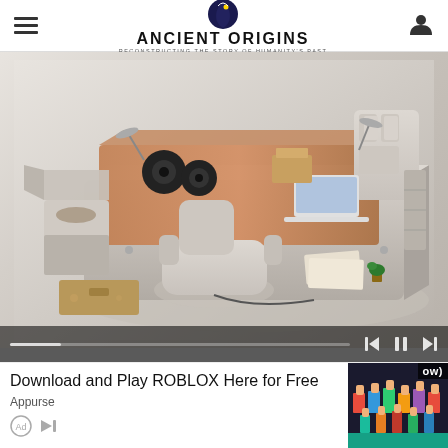Ancient Origins — Reconstructing the story of humanity's past
[Figure (photo): Luxury multi-functional bed with built-in speakers, storage drawers, massage chair, reading lamps, and various compartments, displayed on a light grey background. A recliner/massage lounge chair is in front of the bed footboard.]
Download and Play ROBLOX Here for Free
Appurse
[Figure (photo): Thumbnail image of colorful Roblox game characters with crowd scene]